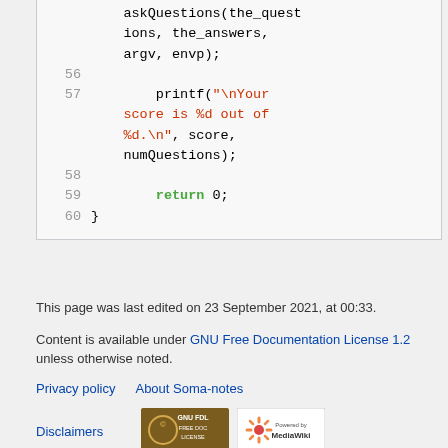[Figure (screenshot): Code snippet showing C code lines 55-60 with syntax highlighting. Lines show askQuestions call, printf with red string, return 0, and closing brace.]
This page was last edited on 23 September 2021, at 00:33.
Content is available under GNU Free Documentation License 1.2 unless otherwise noted.
Privacy policy   About Soma-notes
Disclaimers
[Figure (logo): GNU FDL Free Doc License badge]
[Figure (logo): Powered by MediaWiki badge]